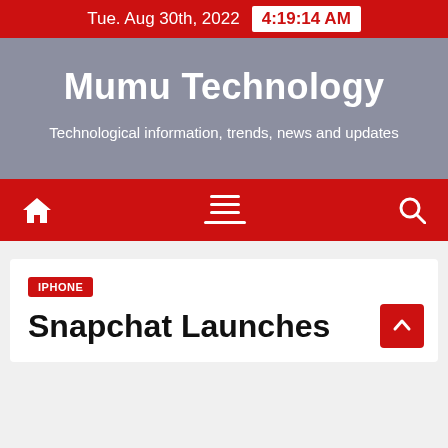Tue. Aug 30th, 2022  4:19:14 AM
Mumu Technology
Technological information, trends, news and updates
[Figure (other): Navigation bar with home icon, hamburger menu, and search icon on red background]
IPHONE
Snapchat Launches